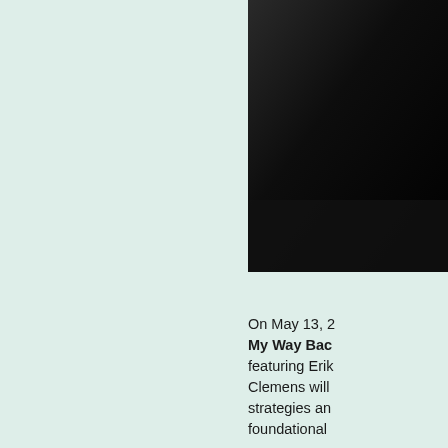[Figure (photo): A dark/black photographic image cropped to the top-right corner of the page, partially visible.]
On May 13, 2 My Way Bac featuring Erik Clemens will strategies an foundational